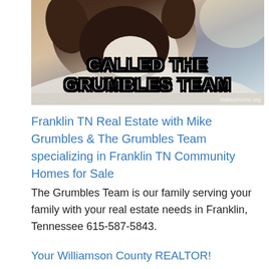[Figure (photo): Meme image of a dog (appears to be a Boston Terrier or similar breed) with bold white text outlined in black reading 'CALLED THE GRUMBLES TEAM' and a watermark 'makeameme.org' in the bottom right corner.]
Franklin TN Real Estate with Mike Grumbles & The Grumbles Team specializing in Franklin TN Community Homes for Sale
The Grumbles Team is our family serving your family with your real estate needs in Franklin, Tennessee 615-587-5843.
Your Williamson County REALTOR!